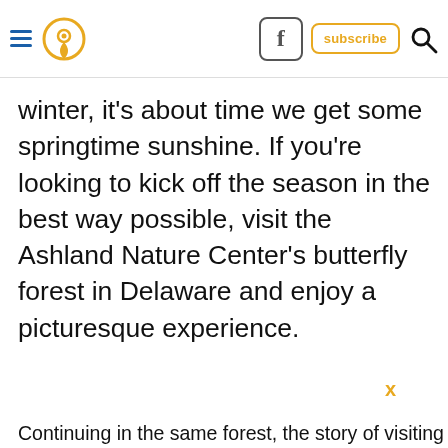☰ [location icon] [facebook icon] subscribe 🔍
winter, it's about time we get some springtime sunshine. If you're looking to kick off the season in the best way possible, visit the Ashland Nature Center's butterfly forest in Delaware and enjoy a picturesque experience.
X
Continuing in the same forest, the story of visiting Ashland